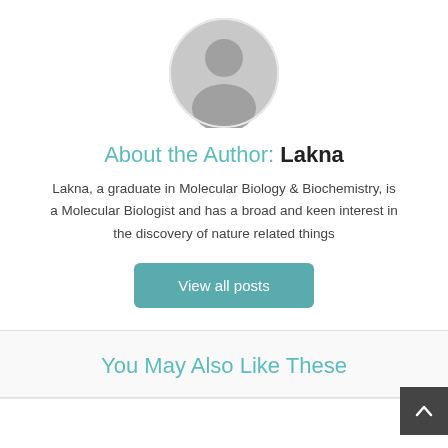[Figure (illustration): Circular grey placeholder avatar with a generic person silhouette icon]
About the Author: Lakna
Lakna, a graduate in Molecular Biology & Biochemistry, is a Molecular Biologist and has a broad and keen interest in the discovery of nature related things
View all posts
You May Also Like These